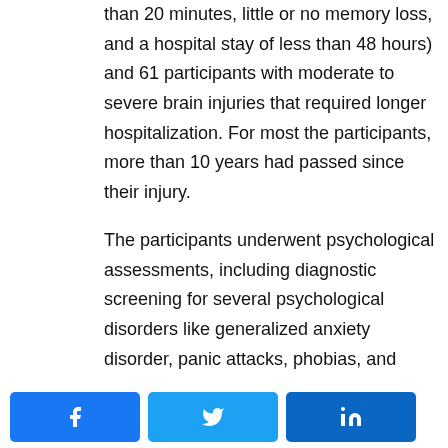injuries (defined as losing consciousness for less than 20 minutes, little or no memory loss, and a hospital stay of less than 48 hours) and 61 participants with moderate to severe brain injuries that required longer hospitalization. For most the participants, more than 10 years had passed since their injury.

The participants underwent psychological assessments, including diagnostic screening for several psychological disorders like generalized anxiety disorder, panic attacks, phobias, and
Share buttons: Facebook, Twitter, LinkedIn